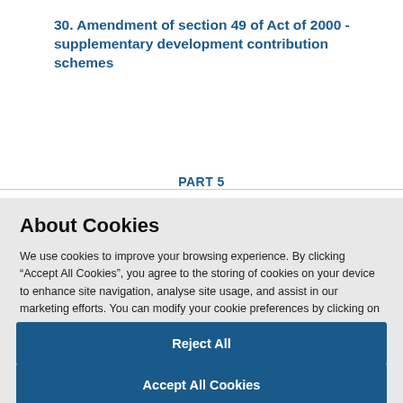30. Amendment of section 49 of Act of 2000 - supplementary development contribution schemes
PART 5
About Cookies
We use cookies to improve your browsing experience. By clicking “Accept All Cookies”, you agree to the storing of cookies on your device to enhance site navigation, analyse site usage, and assist in our marketing efforts. You can modify your cookie preferences by clicking on cookie settings within our Cookie Policy
Cookies Settings
Reject All
Accept All Cookies